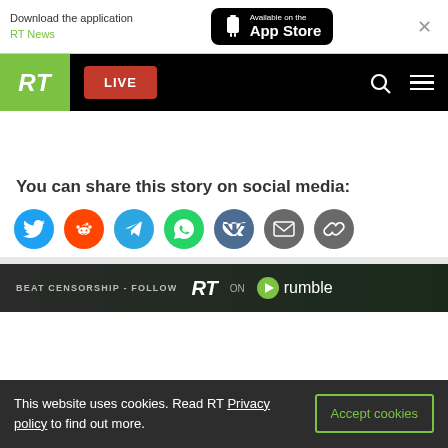[Figure (screenshot): App Store download banner with RT News text and Available on the App Store button]
[Figure (screenshot): RT News navigation bar with green RT logo, red LIVE button, search and hamburger menu icons]
You can share this story on social media:
[Figure (infographic): Social media share icons: Twitter, Reddit, Telegram, WhatsApp, VK, Email, Link]
[Figure (screenshot): BEAT CENSORSHIP - FOLLOW RT ON rumble promotional banner]
This website uses cookies. Read RT Privacy policy to find out more.